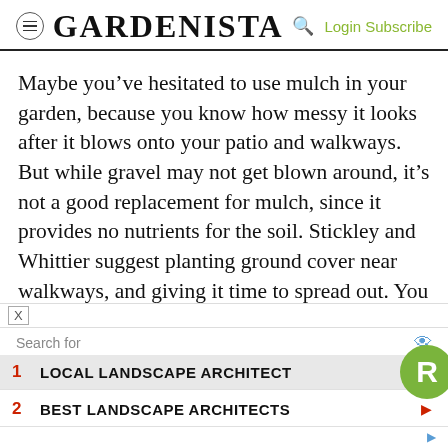GARDENISTA
Maybe you’ve hesitated to use mulch in your garden, because you know how messy it looks after it blows onto your patio and walkways. But while gravel may not get blown around, it’s not a good replacement for mulch, since it provides no nutrients for the soil. Stickley and Whittier suggest planting ground cover near walkways, and giving it time to spread out. You may still need mulch, but perhaps only for one season.
[Figure (screenshot): Advertisement overlay with search suggestions: 1 LOCAL LANDSCAPE ARCHITECT, 2 BEST LANDSCAPE ARCHITECTS, with a green R badge logo]